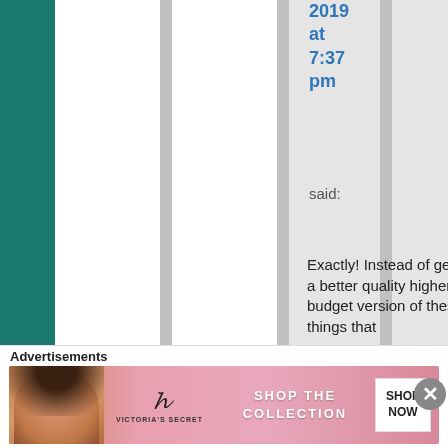2019 at 7:37 pm
said:
Exactly! Instead of getting a better quality higher budget version of these things that
Advertisements
[Figure (photo): Victoria's Secret advertisement banner with model, VS logo, 'SHOP THE COLLECTION' text, and 'SHOP NOW' button]